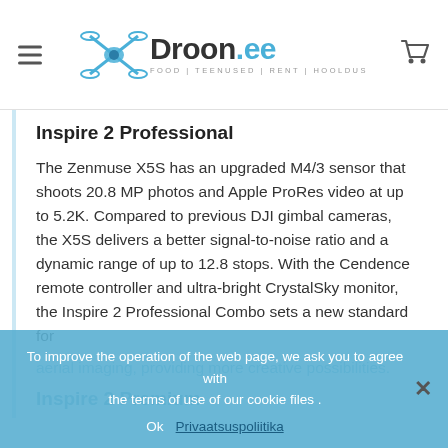Droon.ee — FOOD | TEENUSED | RENT | HOOLDUS
Inspire 2 Professional
The Zenmuse X5S has an upgraded M4/3 sensor that shoots 20.8 MP photos and Apple ProRes video at up to 5.2K. Compared to previous DJI gimbal cameras, the X5S delivers a better signal-to-noise ratio and a dynamic range of up to 12.8 stops. With the Cendence remote controller and ultra-bright CrystalSky monitor, the Inspire 2 Professional Combo sets a new standard for aerial imaging, providing more creative possibilities.
To improve the operation of the web page, we ask you to agree with the terms of use of our cookie files
Inspire 2 Premium